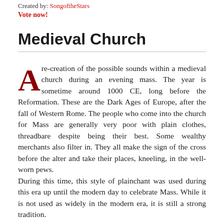Created by: SongoftheStars
Vote now!
Medieval Church
Are-creation of the possible sounds within a medieval church during an evening mass. The year is sometime around 1000 CE, long before the Reformation. These are the Dark Ages of Europe, after the fall of Western Rome. The people who come into the church for Mass are generally very poor with plain clothes, threadbare despite being their best. Some wealthy merchants also filter in. They all make the sign of the cross before the alter and take their places, kneeling, in the well-worn pews.
During this time, this style of plainchant was used during this era up until the modern day to celebrate Mass. While it is not used as widely in the modern era, it is still a strong tradition.